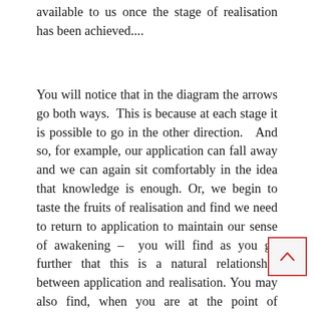available to us once the stage of realisation has been achieved....
You will notice that in the diagram the arrows go both ways.  This is because at each stage it is possible to go in the other direction.  And so, for example, our application can fall away and we can again sit comfortably in the idea that knowledge is enough. Or, we begin to taste the fruits of realisation and find we need to return to application to maintain our sense of awakening –  you will find as you go further that this is a natural relationship between application and realisation. You may also find, when you are at the point of knowledge that you have a sense of realisation, but a that stage it is merely conceptual, it is not